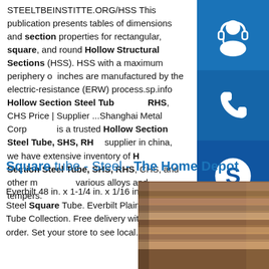STEELTBEINSTITTE.ORG/HSS This publication presents tables of dimensions and section properties for rectangular, square, and round Hollow Structural Sections (HSS). HSS with a maximum periphery of inches are manufactured by the electric-resistance (ERW) process.sp.info Hollow Section Steel Tube, SHS, RHS, CHS Price | Supplier ...Shanghai Metal Corp is a trusted Hollow Section Steel Tube, SHS, RHS, CHS supplier in china, we have extensive inventory of H Section Steel Tube, SHS, RHS, CHS, and other made various alloys and tempers.
[Figure (infographic): Three blue square icon buttons stacked vertically on the right side: headset/customer service icon, phone icon, and Skype icon.]
Square tube - Steel - The Home Depot
Everbilt 48 in. x 1-1/4 in. x 1/16 in. Plain Steel Square Tube. Everbilt Plain Square Tube Collection. Free delivery with $45 order. Set your store to see local.
[Figure (photo): Stack of flat steel plates/sheets photographed from the side, showing layered metallic surfaces in brown/copper tones.]